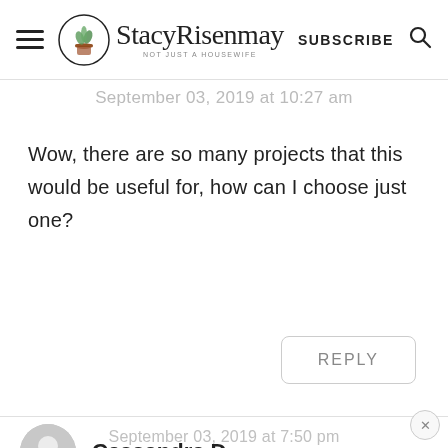StacyRisenmay — Not Just a Housewife | SUBSCRIBE
September 03, 2019 at 10:27 am
Wow, there are so many projects that this would be useful for, how can I choose just one?
REPLY
Cassandra D
September 03, 2019 at 7:50 pm